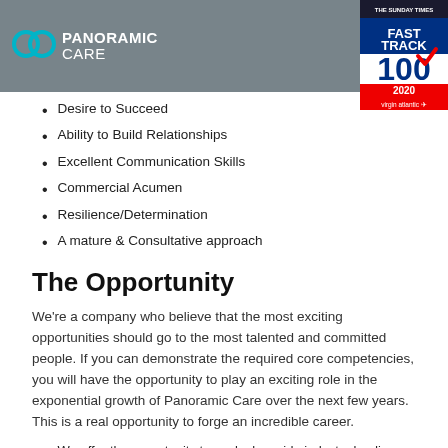Panoramic Care – navigation header with logo and hamburger menu
[Figure (logo): The Sunday Times Fast Track 100 2020 badge sponsored by Virgin Atlantic]
Desire to Succeed
Ability to Build Relationships
Excellent Communication Skills
Commercial Acumen
Resilience/Determination
A mature & Consultative approach
The Opportunity
We're a company who believe that the most exciting opportunities should go to the most talented and committed people. If you can demonstrate the required core competencies, you will have the opportunity to play an exciting role in the exponential growth of Panoramic Care over the next few years. This is a real opportunity to forge an incredible career.
We offer the opportunity to work alongside industry leading professionals at all levels, including Principal Associates, Managers and Directors
We deliver structured training and development with a